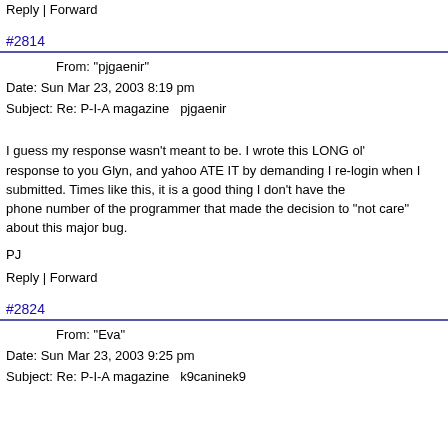Reply | Forward
#2814
From: "pjgaenir"
Date: Sun Mar 23, 2003 8:19 pm
Subject: Re: P-I-A magazine   pjgaenir
I guess my response wasn't meant to be.  I wrote this LONG ol' response to you Glyn, and yahoo ATE IT by demanding I re-login when I submitted.  Times like this, it is a good thing I don't have the phone number of the programmer that made the decision to "not care" about this major bug.

PJ
Reply | Forward
#2824
From: "Eva"
Date: Sun Mar 23, 2003 9:25 pm
Subject: Re: P-I-A magazine   k9caninek9